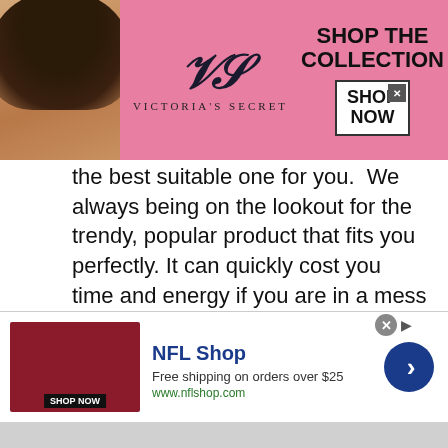[Figure (advertisement): Victoria's Secret banner ad with model photo on left, VS logo in center, 'SHOP THE COLLECTION' text and 'SHOP NOW' button on right, pink background]
the best suitable one for you.  We always being on the lookout for the trendy, popular product that fits you perfectly. It can quickly cost you time and energy if you are in a mess of deciding which weber parts diagram to buy.
That is why we have decided to help you in this quest by providing you with a list of the most sought-after products by consumers.
[Figure (advertisement): NFL Shop ad banner with red jersey image, 'NFL Shop' title in blue, 'Free shipping on orders over $25', 'www.nflshop.com', 'SHOP NOW' button, blue circle chevron arrow on right]